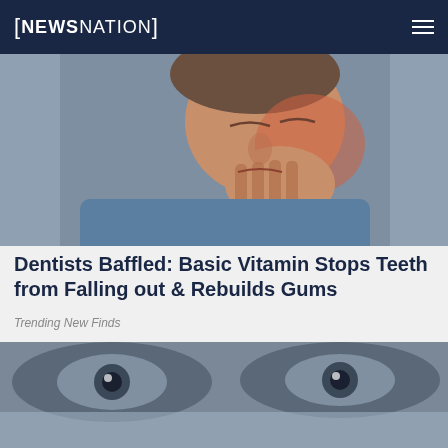[NEWSNATION]
[Figure (photo): Man wincing in pain, clutching his jaw/cheek with one hand, wearing a blue t-shirt, shot against a blue-grey background]
Dentists Baffled: Basic Vitamin Stops Teeth from Falling out & Rebuilds Gums
Trending New Finds
[Figure (photo): Close-up of human eyes at top, with an advertisement overlay at bottom showing a black-and-white photo of two people and the text 'Never stop being a dad.' in cyan/teal letters on dark background, with an X close button]